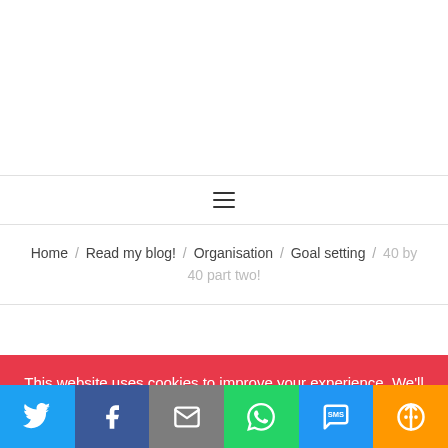[Figure (screenshot): Top white area of a blog website (header/logo area, blank)]
[Figure (screenshot): Navigation bar with hamburger menu icon (three horizontal lines)]
Home / Read my blog! / Organisation / Goal setting / 40 by 40 part two!
This website uses cookies to improve your experience. We'll assume you're ok with this, but you can opt-out if you wish.
[Figure (screenshot): Social share bar with Twitter, Facebook, Email, WhatsApp, SMS, and More buttons]